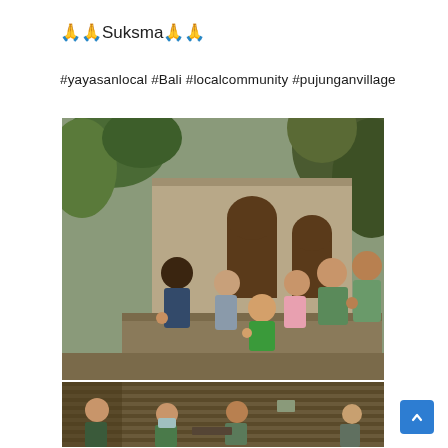🙏🙏Suksma🙏🙏
#yayasanlocal #Bali #localcommunity #pujunganvillage
[Figure (photo): Group photo of adults and children giving thumbs up in front of a traditional Balinese house with arched doorways and tropical greenery]
[Figure (photo): People inside a rustic wooden structure, some wearing face masks, smiling at the camera]